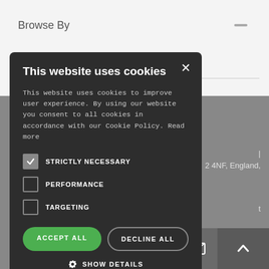Browse By
[Figure (screenshot): Cookie consent modal dialog on a website. Dark background modal with title 'This website uses cookies', body text explaining cookie usage, checkboxes for STRICTLY NECESSARY (checked), PERFORMANCE (unchecked), TARGETING (unchecked), ACCEPT ALL (green) and DECLINE ALL buttons, and SHOW DETAILS option.]